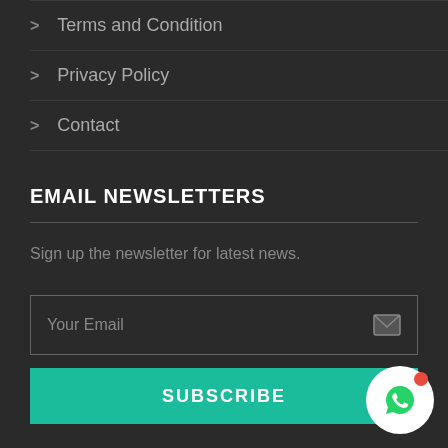> Terms and Condition
> Privacy Policy
> Contact
EMAIL NEWSLETTERS
Sign up the newsletter for latest news.
[Figure (other): Email input field with placeholder 'Your Email' and envelope icon on the right]
[Figure (other): Teal SUBSCRIBE button]
[Figure (other): WhatsApp floating button with red notification dot]